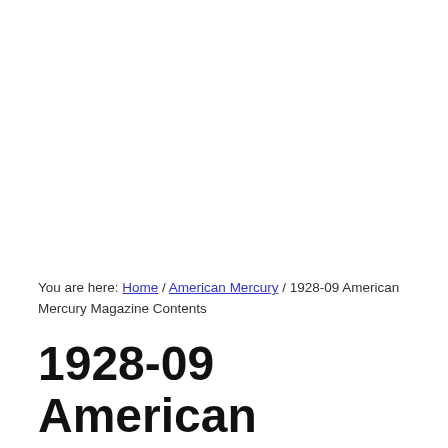You are here: Home / American Mercury / 1928-09 American Mercury Magazine Contents
1928-09 American Mercury Magazine Contents